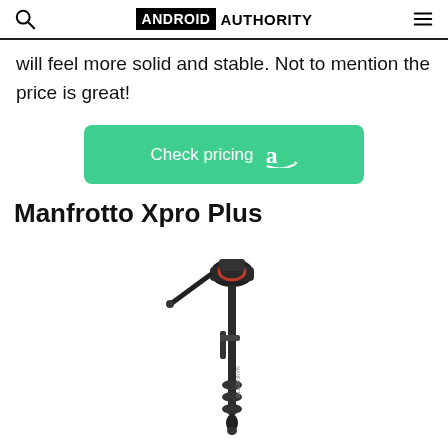ANDROID AUTHORITY
will feel more solid and stable. Not to mention the price is great!
[Figure (other): Green Amazon 'Check pricing' button with Amazon logo]
Manfrotto Xpro Plus
[Figure (photo): Photo of a Manfrotto Xpro Plus monopod with fluid head, shown full length on white background]